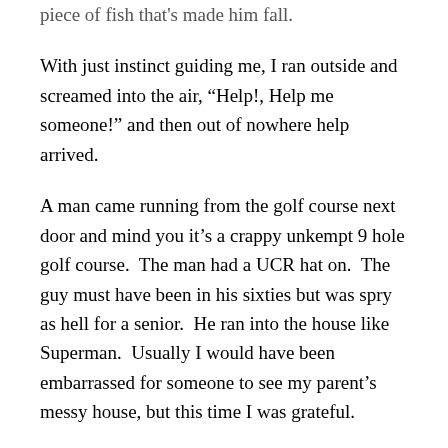piece of fish that's made him fall.
With just instinct guiding me, I ran outside and screamed into the air, “Help!, Help me someone!” and then out of nowhere help arrived.
A man came running from the golf course next door and mind you it’s a crappy unkempt 9 hole golf course.  The man had a UCR hat on.  The guy must have been in his sixties but was spry as hell for a senior.  He ran into the house like Superman.  Usually I would have been embarrassed for someone to see my parent’s messy house, but this time I was grateful.
Superman didn’t hesitate and grabbed my father out of the hospice bed and gave him the Heimlech maneuver and the piece of fried fish flew out and hit the wall.